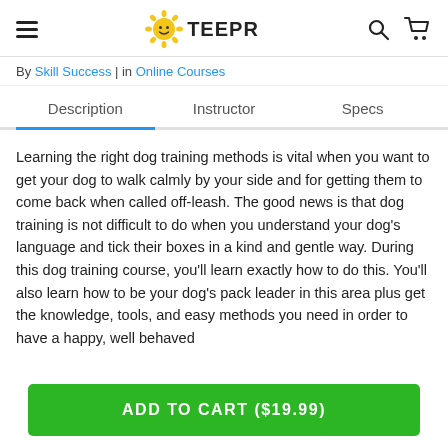TEEPR
By Skill Success | in Online Courses
Description	Instructor	Specs
Learning the right dog training methods is vital when you want to get your dog to walk calmly by your side and for getting them to come back when called off-leash. The good news is that dog training is not difficult to do when you understand your dog's language and tick their boxes in a kind and gentle way. During this dog training course, you'll learn exactly how to do this. You'll also learn how to be your dog's pack leader in this area plus get the knowledge, tools, and easy methods you need in order to have a happy, well behaved
ADD TO CART ($19.99)